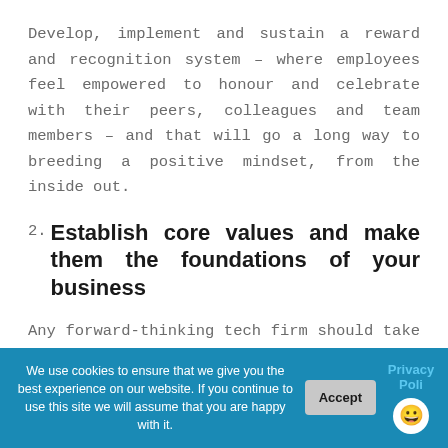Develop, implement and sustain a reward and recognition system – where employees feel empowered to honour and celebrate with their peers, colleagues and team members – and that will go a long way to breeding a positive mindset, from the inside out.
2. Establish core values and make them the foundations of your business
Any forward-thinking tech firm should take the time to identify exactly what their
We use cookies to ensure that we give you the best experience on our website. If you continue to use this site we will assume that you are happy with it. Accept Privacy Poli